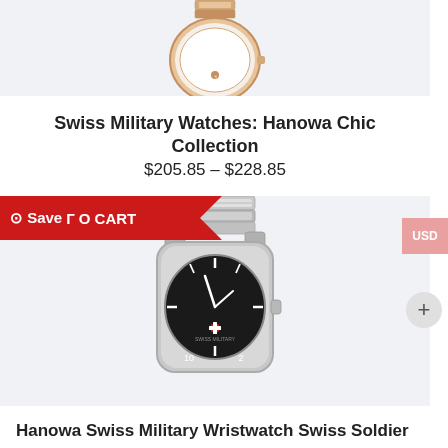[Figure (photo): Top portion of a rose gold / silver ladies watch face and bracelet on a light blue-grey background]
Swiss Military Watches: Hanowa Chic Collection
$205.85 – $228.85
⊙ Save TO CART
[Figure (photo): Silver stainless steel sports wristwatch (Hanowa Swiss Military Soldier) with black dial, partially visible from top, on light grey background]
Hanowa Swiss Military Wristwatch Swiss Soldier